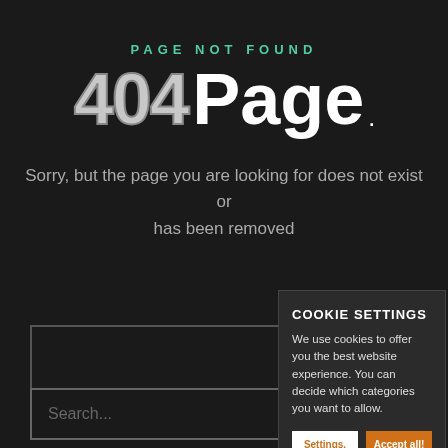PAGE NOT FOUND
404 Page .
Sorry, but the page you are looking for does not exist or has been removed
[Figure (screenshot): Search input box with white border on dark background]
[Figure (screenshot): Cookie settings popup panel on dark background with Settings and Accept all buttons]